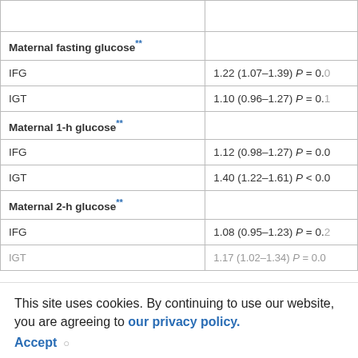|  |  |
| --- | --- |
|  |  |
| Maternal fasting glucose** |  |
| IFG | 1.22 (1.07–1.39) P = 0.0… |
| IGT | 1.10 (0.96–1.27) P = 0.… |
| Maternal 1-h glucose** |  |
| IFG | 1.12 (0.98–1.27) P = 0.0… |
| IGT | 1.40 (1.22–1.61) P < 0.0… |
| Maternal 2-h glucose** |  |
| IFG | 1.08 (0.95–1.23) P = 0.… |
| IGT | 1.17 (1.02–1.34) P = 0.0… |
| Maternal sum of glucose 2 aims** |  |
|  | 1.07 (1.01–1.13) P = 0.0… |
This site uses cookies. By continuing to use our website, you are agreeing to our privacy policy. Accept